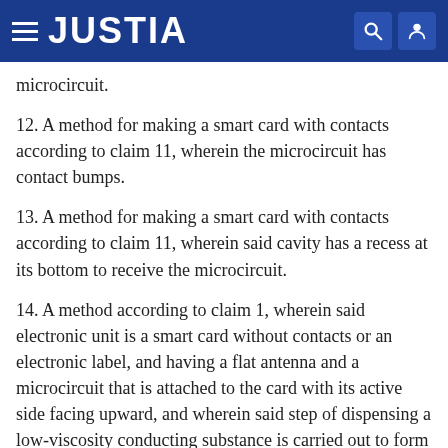JUSTIA
microcircuit.
12. A method for making a smart card with contacts according to claim 11, wherein the microcircuit has contact bumps.
13. A method for making a smart card with contacts according to claim 11, wherein said cavity has a recess at its bottom to receive the microcircuit.
14. A method according to claim 1, wherein said electronic unit is a smart card without contacts or an electronic label, and having a flat antenna and a microcircuit that is attached to the card with its active side facing upward, and wherein said step of dispensing a low-viscosity conducting substance is carried out to form connections between the exit hubs of the microcircuit and the hubs of the antenna.